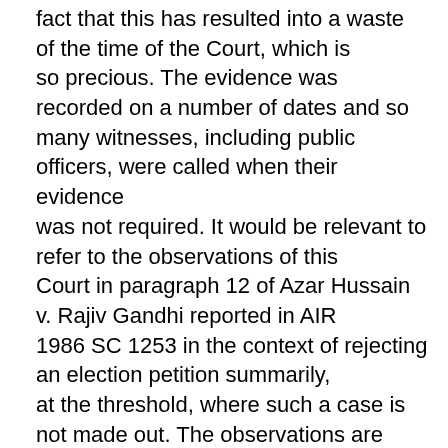fact that this has resulted into a waste of the time of the Court, which is so precious. The evidence was recorded on a number of dates and so many witnesses, including public officers, were called when their evidence was not required. It would be relevant to refer to the observations of this Court in paragraph 12 of Azar Hussain v. Rajiv Gandhi reported in AIR 1986 SC 1253 in the context of rejecting an election petition summarily, at the threshold, where such a case is not made out. The observations are to the following effect, “12. Learned counsel for the petitioner has next argued that